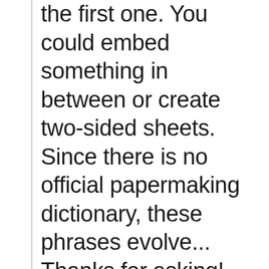the first one. You could embed something in between or create two-sided sheets. Since there is no official papermaking dictionary, these phrases evolve... Thanks for asking!